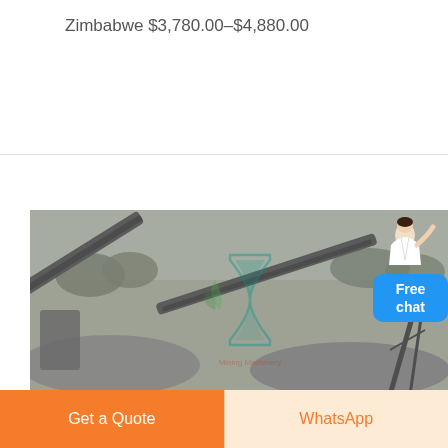Zimbabwe $3,780.00–$4,880.00
[Figure (photo): Outdoor quarry/mining site with conveyor belts, crushed stone piles, machinery, and hazy sky. Watermark hourglass logo overlaid in center.]
Free chat
Get a Quote
WhatsApp